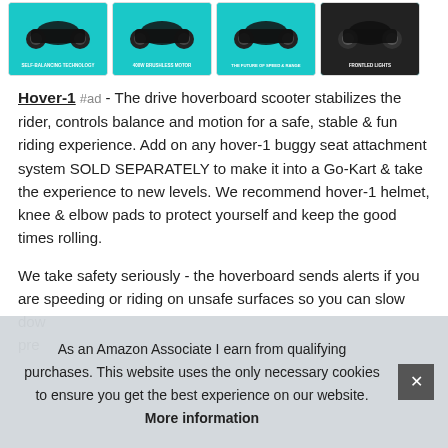[Figure (photo): Four product thumbnail images of hoverboard scooters on teal/cyan backgrounds, each with text labels: SELF-BALANCING TECHNOLOGY, 400W BRUSHLESS MOTOR, THE FUTURE OF SPEED & RANGE, FRONTLED LIGHTS]
Hover-1 #ad - The drive hoverboard scooter stabilizes the rider, controls balance and motion for a safe, stable & fun riding experience. Add on any hover-1 buggy seat attachment system SOLD SEPARATELY to make it into a Go-Kart & take the experience to new levels. We recommend hover-1 helmet, knee & elbow pads to protect yourself and keep the good times rolling.
We take safety seriously - the hoverboard sends alerts if you are speeding or riding on unsafe surfaces so you can slow dow... pre...
As an Amazon Associate I earn from qualifying purchases. This website uses the only necessary cookies to ensure you get the best experience on our website. More information